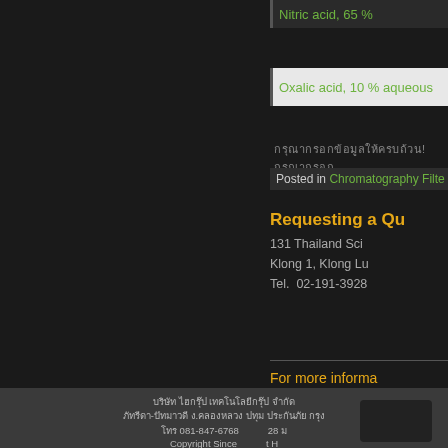Nitric acid, 65 %
Oxalic acid, 10 % aqueous
กรุณากรอกข้อมูลให้ครบถ้วน!กรุณากรอก
Posted in Chromatography Filte
Requesting a Qu
131 Thailand Sci
Klong 1, Klong Lu
Tel.  02-191-3928
For more informa @alltestkit
E-mail : info@hig
บริษัท ไฮกรุ๊ป เทคโนโลยีกรุ๊ป จำกัด
ภัทรีดา-ปัทมาวดี ง.คลองหลวง ปทุม ประกันภัย กรุง
โทร 081-847-6768 28 ม
Copyright Since t H